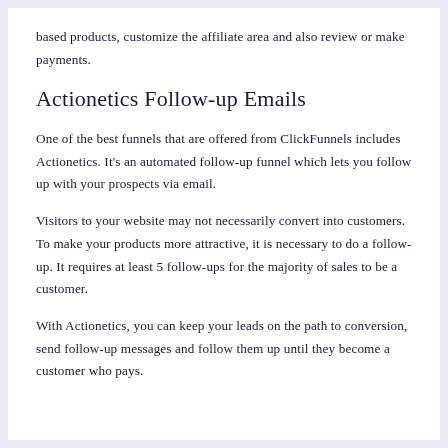based products, customize the affiliate area and also review or make payments.
Actionetics Follow-up Emails
One of the best funnels that are offered from ClickFunnels includes Actionetics. It's an automated follow-up funnel which lets you follow up with your prospects via email.
Visitors to your website may not necessarily convert into customers. To make your products more attractive, it is necessary to do a follow-up. It requires at least 5 follow-ups for the majority of sales to be a customer.
With Actionetics, you can keep your leads on the path to conversion, send follow-up messages and follow them up until they become a customer who pays.